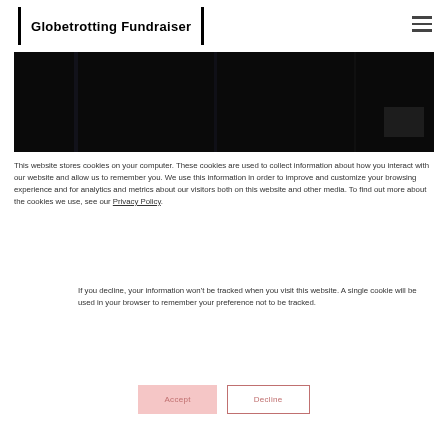Globetrotting Fundraiser
[Figure (photo): Dark/black background photo, appears to be a stage or dark setting with some light reflections]
This website stores cookies on your computer. These cookies are used to collect information about how you interact with our website and allow us to remember you. We use this information in order to improve and customize your browsing experience and for analytics and metrics about our visitors both on this website and other media. To find out more about the cookies we use, see our Privacy Policy.
If you decline, your information won't be tracked when you visit this website. A single cookie will be used in your browser to remember your preference not to be tracked.